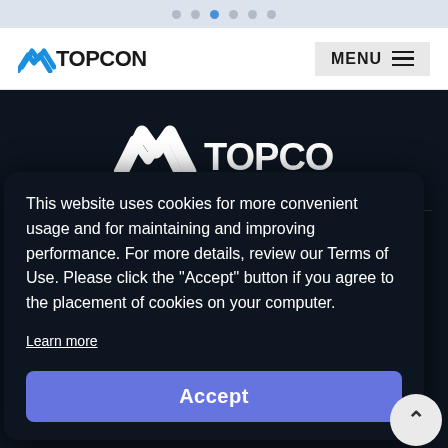Navigation dots (browser pagination UI)
[Figure (logo): Topcon logo in navigation bar with blue stylized double-chevron icon and TOPCON wordmark]
MENU
[Figure (logo): Large white Topcon logo centered on dark background with stylized double-chevron icon and TOPCON wordmark]
Select Region
Americas
Europe, North East Africa
Asia Pacific
Greater China
This website uses cookies for more convenient usage and for maintaining and improving performance. For more details, review our Terms of Use. Please click the "Accept" button if you agree to the placement of cookies on your computer.
Learn more
Accept
About Us
• Corporate Profile